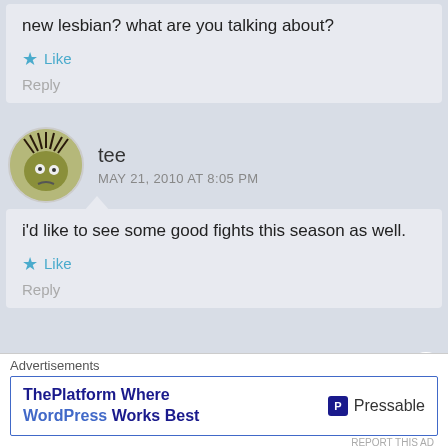new lesbian? what are you talking about?
Like
Reply
tee
MAY 21, 2010 AT 8:05 PM
[Figure (illustration): Avatar of user tee: cartoon face with spiky hair on olive-colored round face]
i'd like to see some good fights this season as well.
Like
Reply
Advertisements
ThePlatform Where WordPress Works Best
P Pressable
REPORT THIS AD